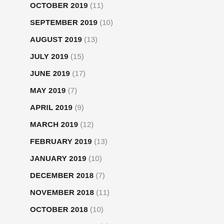OCTOBER 2019 (11)
SEPTEMBER 2019 (10)
AUGUST 2019 (13)
JULY 2019 (15)
JUNE 2019 (17)
MAY 2019 (7)
APRIL 2019 (9)
MARCH 2019 (12)
FEBRUARY 2019 (13)
JANUARY 2019 (10)
DECEMBER 2018 (7)
NOVEMBER 2018 (11)
OCTOBER 2018 (10)
SEPTEMBER 2018 (5)
AUGUST 2018 (16)